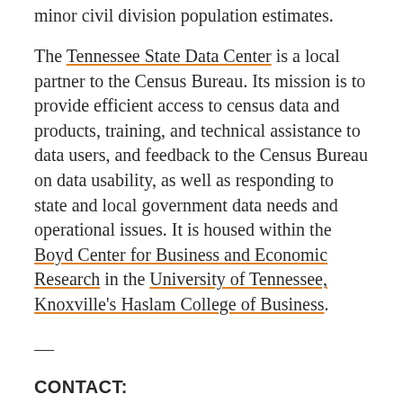minor civil division population estimates.
The Tennessee State Data Center is a local partner to the Census Bureau. Its mission is to provide efficient access to census data and products, training, and technical assistance to data users, and feedback to the Census Bureau on data usability, as well as responding to state and local government data needs and operational issues. It is housed within the Boyd Center for Business and Economic Research in the University of Tennessee, Knoxville's Haslam College of Business.
—
CONTACT: